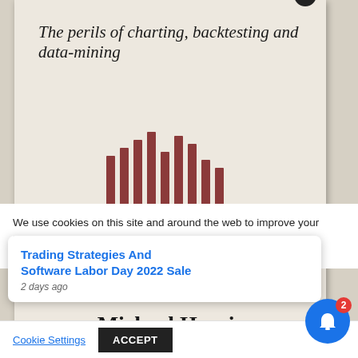The perils of charting, backtesting and data-mining
[Figure (illustration): Decorative vertical bar chart illustration with dark red/maroon bars of varying heights arranged in a wave pattern, stylized logo or emblem for the book cover]
Michael Harris
We use cookies on this site and around the web to improve your
his site we will
out if you wish
Trading Strategies And Software Labor Day 2022 Sale
2 days ago
Cookie Settings
ACCEPT
X
2